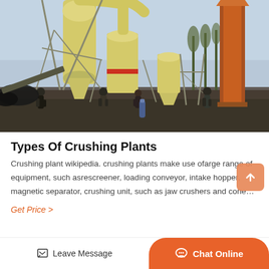[Figure (photo): Industrial crushing plant facility with large yellow grinding/milling towers, conveyor systems, an orange elevator/conveyor on the right, and workers visible on the ground. Taken outdoors with trees and hazy sky in background.]
Types Of Crushing Plants
Crushing plant wikipedia. crushing plants make use ofarge range of equipment, such asrescreener, loading conveyor, intake hopper, magnetic separator, crushing unit, such as jaw crushers and cone…
Get Price >
Leave Message
Chat Online